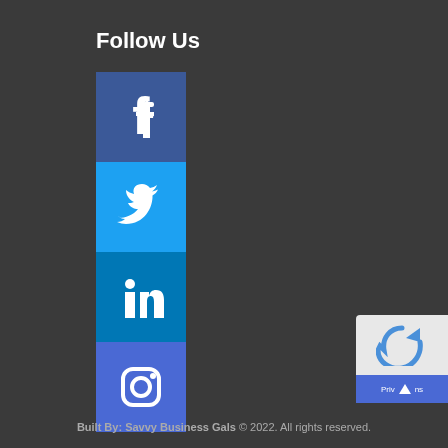Follow Us
[Figure (illustration): Four social media icon buttons stacked vertically: Facebook (dark blue with 'f' logo), Twitter (light blue with bird logo), LinkedIn (teal-blue with 'in' logo), Instagram (indigo-blue with camera icon)]
[Figure (other): reCAPTCHA widget partially visible in bottom right corner with blue arrow/refresh icon and a blue button with up arrow below showing 'Priv' and 'ns' text]
Built By: Savvy Business Gals © 2022. All rights reserved.